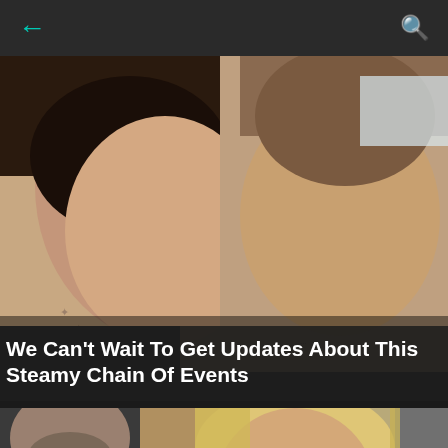← [back] [search]
[Figure (photo): Selfie of a young woman with dark hair and tattoos on her chest next to a young man with short hair and neck tattoo, both smiling]
We Can't Wait To Get Updates About This Steamy Chain Of Events
[Figure (photo): Partial photo showing a man in black on the left and a blonde woman in the center foreground]